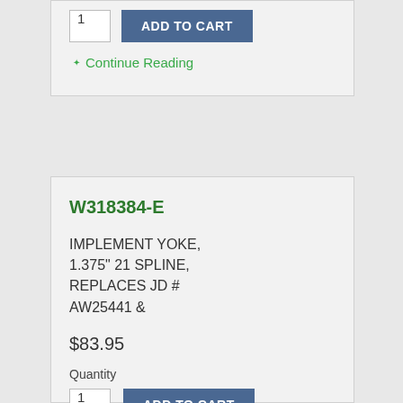1
ADD TO CART
Continue Reading
W318384-E
IMPLEMENT YOKE, 1.375" 21 SPLINE, REPLACES JD # AW25441 &
$83.95
Quantity
1
ADD TO CART